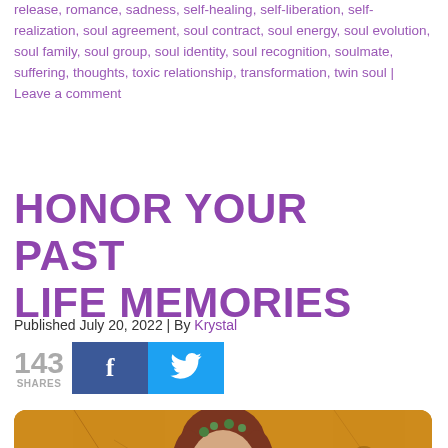release, romance, sadness, self-healing, self-liberation, self-realization, soul agreement, soul contract, soul energy, soul evolution, soul family, soul group, soul identity, soul recognition, soulmate, suffering, thoughts, toxic relationship, transformation, twin soul | Leave a comment
HONOR YOUR PAST LIFE MEMORIES
Published July 20, 2022 | By Krystal
143 SHARES
[Figure (photo): Ancient fresco painting of a young woman with flowers in her hair against an orange/yellow cracked background]